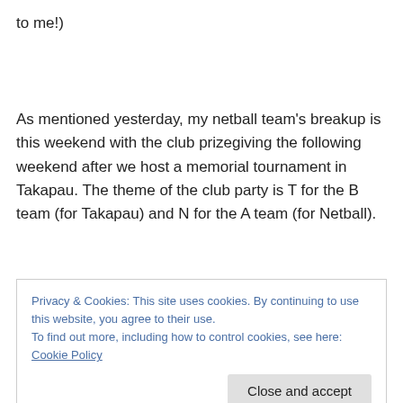to me!)
As mentioned yesterday, my netball team's breakup is this weekend with the club prizegiving the following weekend after we host a memorial tournament in Takapau. The theme of the club party is T for the B team (for Takapau) and N for the A team (for Netball).
Privacy & Cookies: This site uses cookies. By continuing to use this website, you agree to their use.
To find out more, including how to control cookies, see here: Cookie Policy
Close and accept